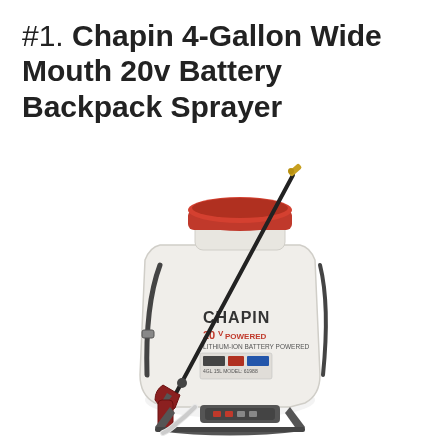#1. Chapin 4-Gallon Wide Mouth 20v Battery Backpack Sprayer
[Figure (photo): Photo of a Chapin 4-Gallon Wide Mouth 20v Battery Backpack Sprayer. The sprayer has a white plastic tank with a wide red cap on top, a long black wand with a brass nozzle tip, a red trigger handle, black shoulder/frame straps, and a white hose. The Chapin logo and '20v POWERED' branding is visible on the tank.]